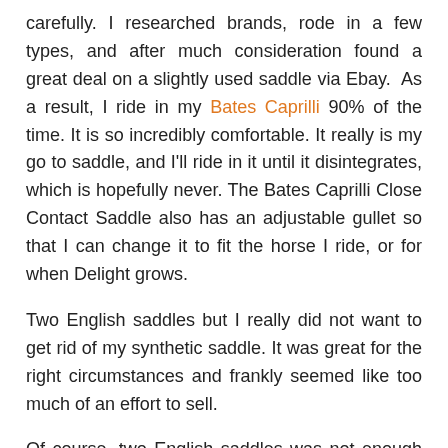carefully. I researched brands, rode in a few types, and after much consideration found a great deal on a slightly used saddle via Ebay. As a result, I ride in my Bates Caprilli 90% of the time. It is so incredibly comfortable. It really is my go to saddle, and I'll ride in it until it disintegrates, which is hopefully never. The Bates Caprilli Close Contact Saddle also has an adjustable gullet so that I can change it to fit the horse I ride, or for when Delight grows.
Two English saddles but I really did not want to get rid of my synthetic saddle. It was great for the right circumstances and frankly seemed like too much of an effort to sell.
Of course, two English saddles was not enough for this horse-obsessed amateur. There was a period where we were riding a lot of trails on the property. So it made sense to me to get a trail saddle. I found a great deal on a Wintec trail saddle. Again, Ebay. I really need to stay off that site!